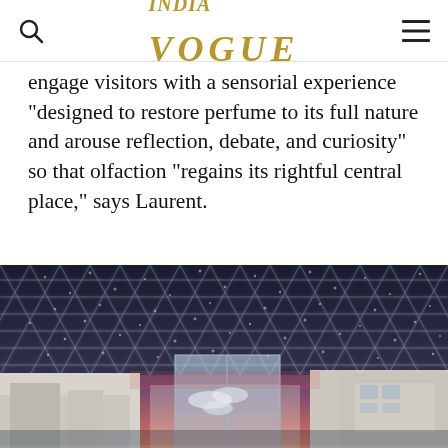VOGUE
engage visitors with a sensorial experience “designed to restore perfume to its full nature and arouse reflection, debate, and curiosity” so that olfaction “regains its rightful central place,” says Laurent.
[Figure (photo): Interior view of Louvre Abu Dhabi showing the iconic geometric lattice dome ceiling with light filtering through, and a glass pavilion structure in the foreground at dusk with pink and purple sky visible in the background.]